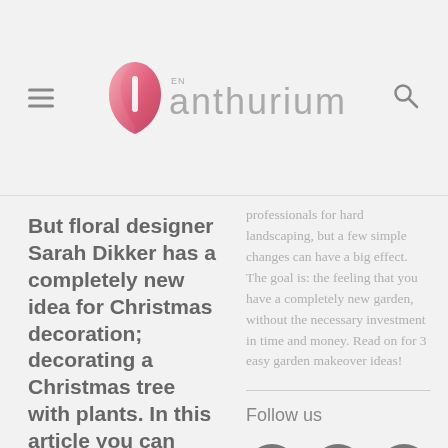EN anthurium
But floral designer Sarah Dikker has a completely new idea for Christmas decoration; decorating a Christmas tree with plants. In this article you can read
professionals for hard landscaping, but a few simple changes can have a big effect. The goal is: the feeling that you have a completely new garden, without the necessary investment in time and money. Read on for 3 easy garden makeover ideas!
Follow us
[Figure (infographic): Three social media icons: Facebook, Pinterest, Instagram — grey circles with white icons]